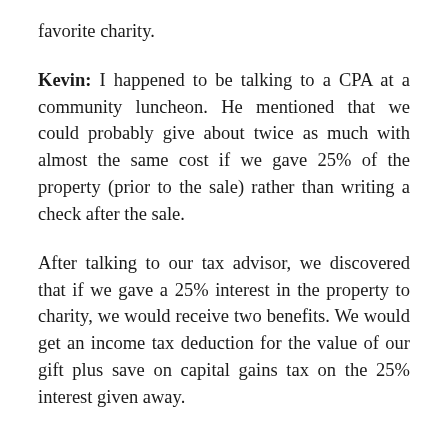favorite charity.
Kevin: I happened to be talking to a CPA at a community luncheon. He mentioned that we could probably give about twice as much with almost the same cost if we gave 25% of the property (prior to the sale) rather than writing a check after the sale.
After talking to our tax advisor, we discovered that if we gave a 25% interest in the property to charity, we would receive two benefits. We would get an income tax deduction for the value of our gift plus save on capital gains tax on the 25% interest given away.